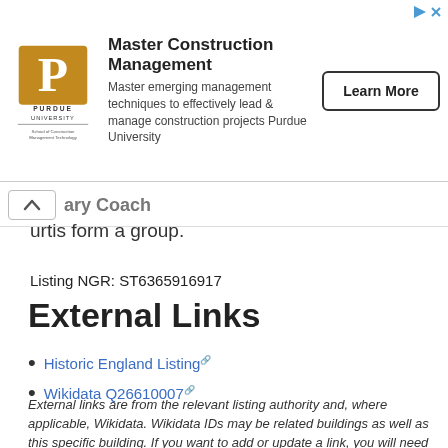[Figure (other): Purdue University advertisement banner for Master Construction Management program with Learn More button]
...urtis form a group.
Listing NGR: ST6365916917
External Links
Historic England Listing
Wikidata Q26610007
External links are from the relevant listing authority and, where applicable, Wikidata. Wikidata IDs may be related buildings as well as this specific building. If you want to add or update a link, you will need to do so by editing the Wikidata entry.